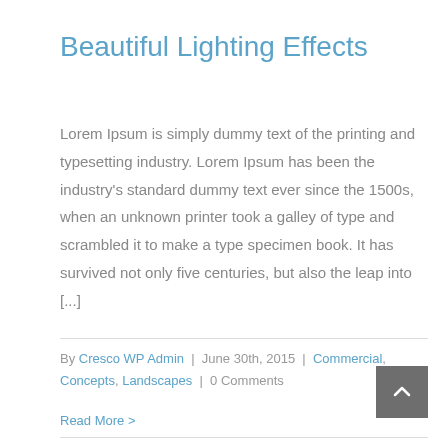Beautiful Lighting Effects
Lorem Ipsum is simply dummy text of the printing and typesetting industry. Lorem Ipsum has been the industry's standard dummy text ever since the 1500s, when an unknown printer took a galley of type and scrambled it to make a type specimen book. It has survived not only five centuries, but also the leap into [...]
By Cresco WP Admin | June 30th, 2015 | Commercial, Concepts, Landscapes | 0 Comments
Read More >